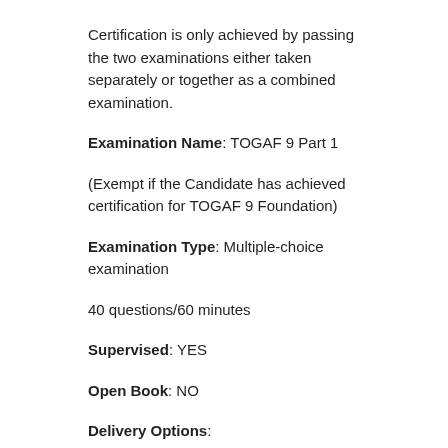Certification is only achieved by passing the two examinations either taken separately or together as a combined examination.
Examination Name: TOGAF 9 Part 1
(Exempt if the Candidate has achieved certification for TOGAF 9 Foundation)
Examination Type: Multiple-choice examination
40 questions/60 minutes
Supervised: YES
Open Book: NO
Delivery Options: